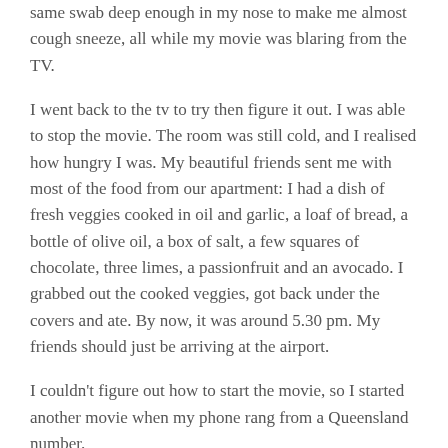same swab deep enough in my nose to make me almost cough sneeze, all while my movie was blaring from the TV.
I went back to the tv to try then figure it out. I was able to stop the movie. The room was still cold, and I realised how hungry I was. My beautiful friends sent me with most of the food from our apartment: I had a dish of fresh veggies cooked in oil and garlic, a loaf of bread, a bottle of olive oil, a box of salt, a few squares of chocolate, three limes, a passionfruit and an avocado. I grabbed out the cooked veggies, got back under the covers and ate. By now, it was around 5.30 pm. My friends should just be arriving at the airport.
I couldn't figure out how to start the movie, so I started another movie when my phone rang from a Queensland number.